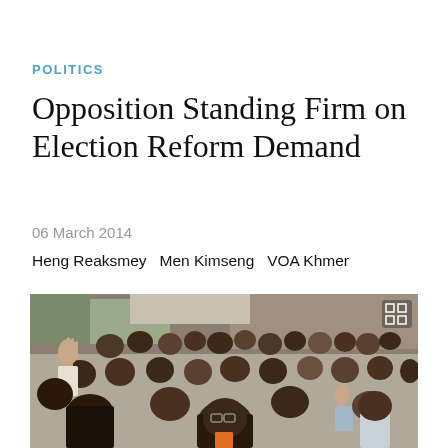POLITICS
Opposition Standing Firm on Election Reform Demand
06 March 2014
Heng Reaksmey  Men Kimseng  VOA Khmer
[Figure (photo): A large crowd of people, some raising their hands, in an outdoor street scene.]